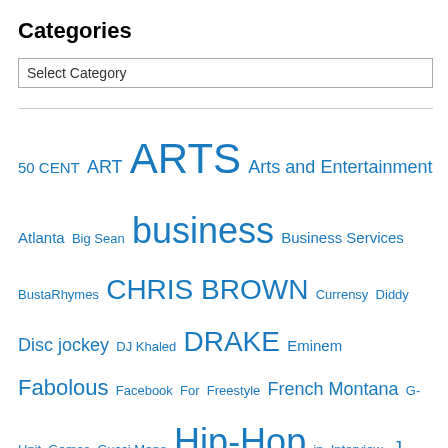Categories
Select Category
50 CENT ART ARTS Arts and Entertainment Atlanta Big Sean business Business Services BustaRhymes CHRIS BROWN Currensy Diddy Disc jockey DJ Khaled DRAKE Eminem Fabolous Facebook For Freestyle French Montana G-Unit Games Gucci Mane Hip-Hop in Interview. J. Cole Jadakiss JAY-Z Jim Jones Joe Budden kanyewest Kanye West LilWayne Lil Wayne LLOYD BANKS Los Angeles Maybach Music Group Miami Mixtape MTV Music Music Video Nas NEW YORK New York City NICKI MINAJ on Prodigy Programs